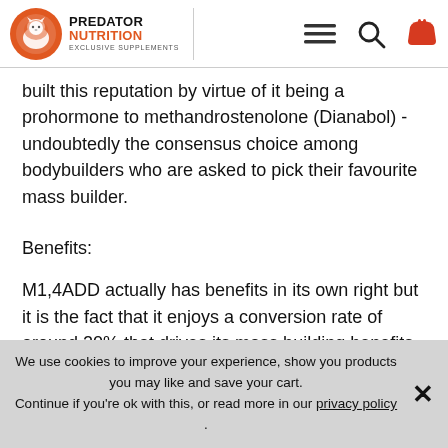Predator Nutrition Exclusive Supplements
built this reputation by virtue of it being a prohormone to methandrostenolone (Dianabol) - undoubtedly the consensus choice among bodybuilders who are asked to pick their favourite mass builder.
Benefits:
M1,4ADD actually has benefits in its own right but it is the fact that it enjoys a conversion rate of around 20% that drives its mass building benefits. While it converts to estrogen, a little estrogen not only facilitates greater increases in muscle protein synthesis, and strength, it also
We use cookies to improve your experience, show you products you may like and save your cart.
Continue if you're ok with this, or read more in our privacy policy .